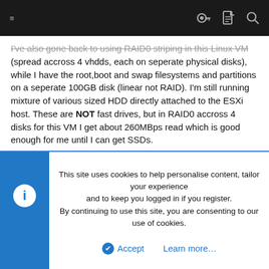Navigation bar with hamburger menu and icons
I've also gone back to using RAID0 striping in this Linux VM (spread accross 4 vhdds, each on seperate physical disks), while I have the root,boot and swap filesystems and partitions on a seperate 100GB disk (linear not RAID). I'm still running mixture of various sized HDD directly attached to the ESXi host. These are NOT fast drives, but in RAID0 accross 4 disks for this VM I get about 260MBps read which is good enough for me until I can get SSDs.
I just wanted to report that I'm very happy since virtualizing my Oracle environments.
[Figure (screenshot): Small thumbnail screenshot of a software/web interface with red header area]
This site uses cookies to help personalise content, tailor your experience and to keep you logged in if you register.
By continuing to use this site, you are consenting to our use of cookies.